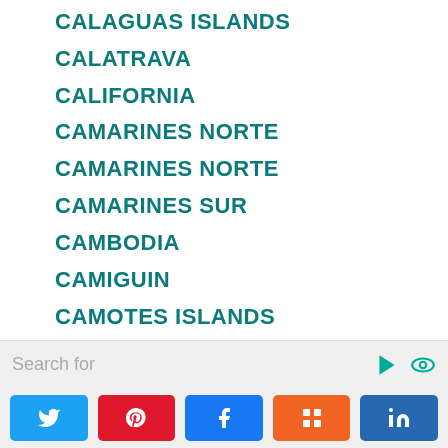CALAGUAS ISLANDS
CALATRAVA
CALIFORNIA
CAMARINES NORTE
CAMARINES NORTE
CAMARINES SUR
CAMBODIA
CAMIGUIN
CAMOTES ISLANDS
CANDONI
CANLAON CITY
Search for | Twitter | Pinterest | Facebook | Mix | LinkedIn